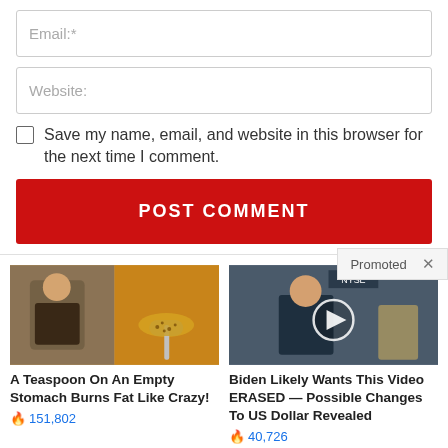Email:*
Website:
Save my name, email, and website in this browser for the next time I comment.
POST COMMENT
Promoted X
[Figure (photo): Ad image: person with abs and spoon of spices - A Teaspoon On An Empty Stomach Burns Fat Like Crazy!]
A Teaspoon On An Empty Stomach Burns Fat Like Crazy!
🔥 151,802
[Figure (photo): Ad image: man on NYSE news set with play button overlay - Biden Likely Wants This Video ERASED — Possible Changes To US Dollar Revealed]
Biden Likely Wants This Video ERASED — Possible Changes To US Dollar Revealed
🔥 40,726